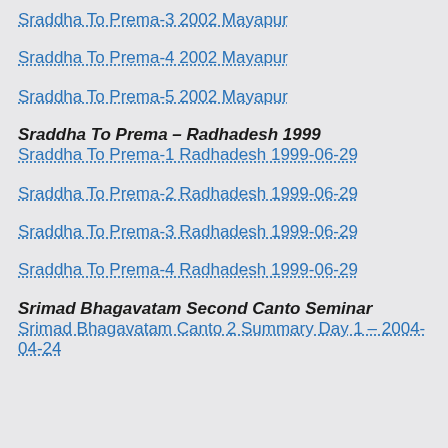Sraddha To Prema-3 2002 Mayapur
Sraddha To Prema-4 2002 Mayapur
Sraddha To Prema-5 2002 Mayapur
Sraddha To Prema – Radhadesh 1999
Sraddha To Prema-1 Radhadesh 1999-06-29
Sraddha To Prema-2 Radhadesh 1999-06-29
Sraddha To Prema-3 Radhadesh 1999-06-29
Sraddha To Prema-4 Radhadesh 1999-06-29
Srimad Bhagavatam Second Canto Seminar
Srimad Bhagavatam Canto 2 Summary Day 1 – 2004-04-24